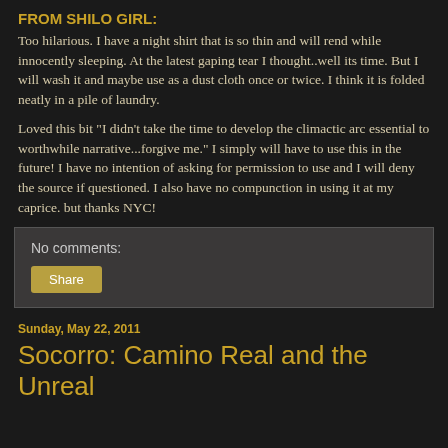FROM SHILO GIRL:
Too hilarious.  I have a night shirt that is so thin and will rend while innocently sleeping.  At the latest gaping tear I thought..well its time.  But I will wash it and maybe use as a dust cloth once or twice.  I think it is folded neatly in a pile of laundry.
Loved this bit "I didn't take the time to develop the climactic arc essential to worthwhile narrative...forgive me."  I simply will have to use this in the future!  I have no intention of asking for permission to use and I will deny the source if questioned.  I also have no compunction in using it at my caprice.  but thanks NYC!
No comments:
Share
Sunday, May 22, 2011
Socorro: Camino Real and the Unreal